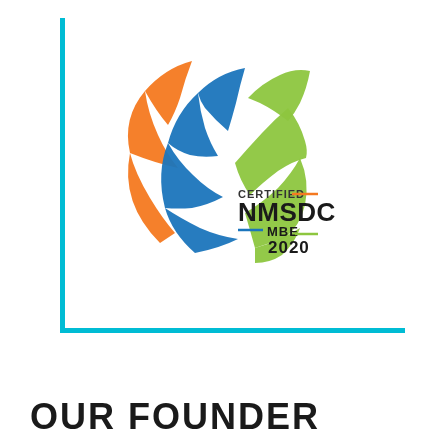[Figure (logo): NMSDC Certified MBE 2020 logo with orange, blue, and green swoosh shapes forming a circular design]
OUR FOUNDER